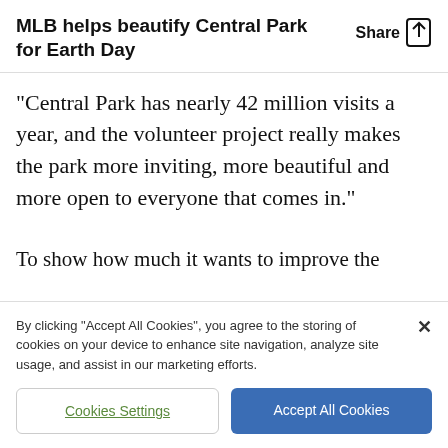MLB helps beautify Central Park for Earth Day
“Central Park has nearly 42 million visits a year, and the volunteer project really makes the park more inviting, more beautiful and more open to everyone that comes in.”
To show how much it wants to improve the
By clicking “Accept All Cookies”, you agree to the storing of cookies on your device to enhance site navigation, analyze site usage, and assist in our marketing efforts.